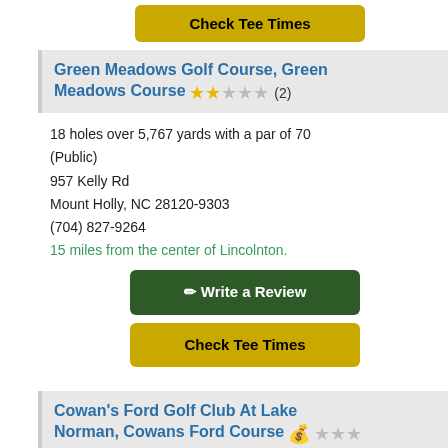Check Tee Times
Green Meadows Golf Course, Green Meadows Course ★★☆☆☆ (2)
18 holes over 5,767 yards with a par of 70
(Public)
957 Kelly Rd
Mount Holly, NC 28120-9303
(704) 827-9264
15 miles from the center of Lincolnton.
Write a Review
Check Tee Times
Cowan's Ford Golf Club At Lake Norman, Cowans Ford Course ☆☆☆☆☆
18 holes over 6,954 yards with a par of 72
(Private)